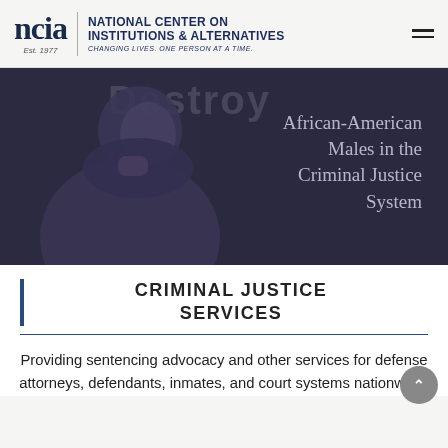ncia | NATIONAL CENTER ON INSTITUTIONS & ALTERNATIVES — CHANGING LIVES. ONE PERSON AT A TIME. — Est. 1977
[Figure (photo): A young African-American male wearing a hoodie, looking upward, against a dark purple-gray background. Text overlaid reads 'Destroy' at top and 'African-American Males in the Criminal Justice System' on the right side.]
CRIMINAL JUSTICE SERVICES
Providing sentencing advocacy and other services for defense attorneys, defendants, inmates, and court systems nationwide.